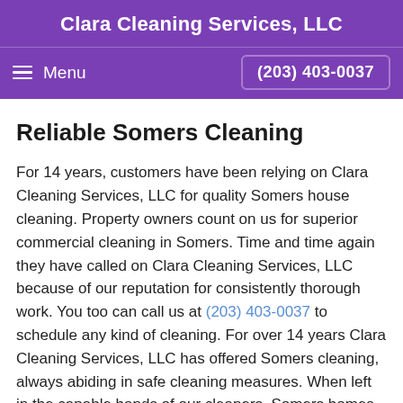Clara Cleaning Services, LLC
Menu   (203) 403-0037
Reliable Somers Cleaning
For 14 years, customers have been relying on Clara Cleaning Services, LLC for quality Somers house cleaning. Property owners count on us for superior commercial cleaning in Somers. Time and time again they have called on Clara Cleaning Services, LLC because of our reputation for consistently thorough work. You too can call us at (203) 403-0037 to schedule any kind of cleaning. For over 14 years Clara Cleaning Services, LLC has offered Somers cleaning, always abiding in safe cleaning measures. When left in the capable hands of our cleaners, Somers homes are cleaned with the utmost safety and care that Clara Cleaning Services, LLC is known for. We